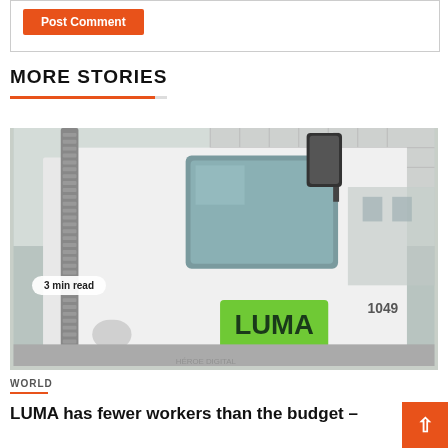[Figure (other): Orange 'Post Comment' button inside a bordered box at top of page]
MORE STORIES
[Figure (photo): Photo of a white LUMA utility truck (vehicle number 1049) with a green LUMA logo sticker, showing the cab door and side mirror. A badge reads '3 min read'.]
WORLD
LUMA has fewer workers than the budget –